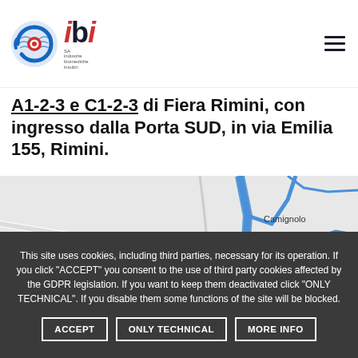ibi logo and navigation menu
A1-2-3 e C1-2-3 di Fiera Rimini, con ingresso dalla Porta SUD, in via Emilia 155, Rimini.
[Figure (map): Map showing location of Fiera Rimini area near Camignolo with a red location pin marker]
This site uses cookies, including third parties, necessary for its operation. If you click "ACCEPT" you consent to the use of third party cookies affected by the GDPR legislation. If you want to keep them deactivated click "ONLY TECHNICAL". If you disable them some functions of the site will be blocked.
ACCEPT | ONLY TECHNICAL | MORE INFO